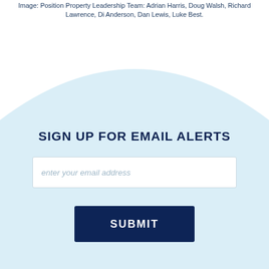Image: Position Property Leadership Team: Adrian Harris, Doug Walsh, Richard Lawrence, Di Anderson, Dan Lewis, Luke Best.
[Figure (illustration): Light blue arch/dome shape background for sign-up form section]
SIGN UP FOR EMAIL ALERTS
enter your email address
SUBMIT